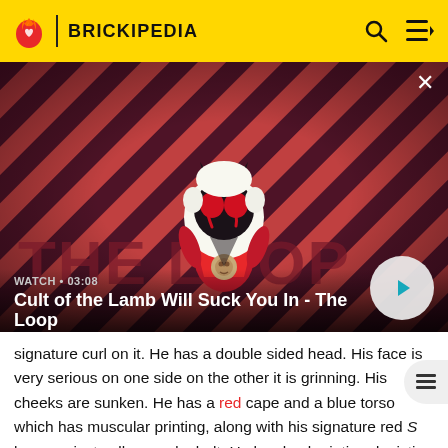BRICKIPEDIA
[Figure (screenshot): Video thumbnail for 'Cult of the Lamb Will Suck You In - The Loop' showing a cartoon lamb character with devil horns and a red cape on a striped dark red background. Duration shown: 03:08. Watch label and play button visible.]
signature curl on it. He has a double sided head. His face is very serious on one side on the other it is grinning. His cheeks are sunken. He has a red cape and a blue torso which has muscular printing, along with his signature red S logo against yellow, and a belt. He has backprinting depicting the back of the belt and the suit's cut on his